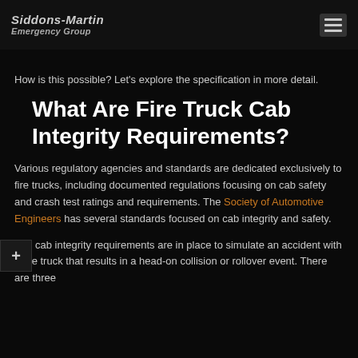Siddons-Martin Emergency Group
How is this possible? Let's explore the specification in more detail.
What Are Fire Truck Cab Integrity Requirements?
Various regulatory agencies and standards are dedicated exclusively to fire trucks, including documented regulations focusing on cab safety and crash test ratings and requirements. The Society of Automotive Engineers has several standards focused on cab integrity and safety.
The cab integrity requirements are in place to simulate an accident with a fire truck that results in a head-on collision or rollover event. There are three